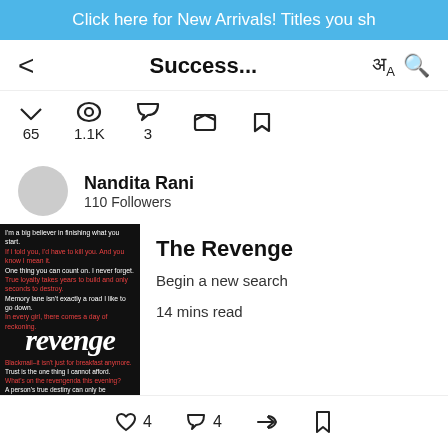Click here for New Arrivals! Titles you sh
Success...
65  1.1K  3
Nandita Rani
110 Followers
[Figure (illustration): Book cover for 'The Revenge' with dark background, revenge-related quotes in white and red text, and the word 'revenge' in large italic white font]
The Revenge
Begin a new search
14 mins read
♡ 4  💬 4  share  bookmark